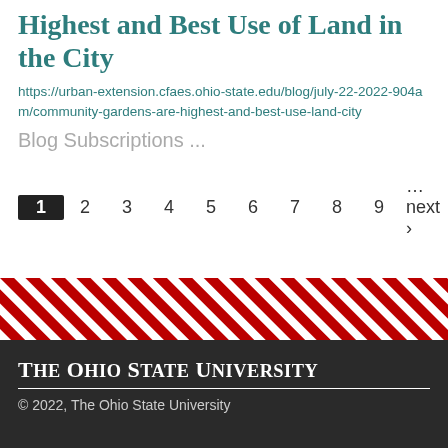Highest and Best Use of Land in the City
https://urban-extension.cfaes.ohio-state.edu/blog/july-22-2022-904am/community-gardens-are-highest-and-best-use-land-city
Blog Subscriptions ...
1 2 3 4 5 6 7 8 9 …next › last »
[Figure (other): Diagonal red and white stripe decorative band]
The Ohio State University
© 2022, The Ohio State University